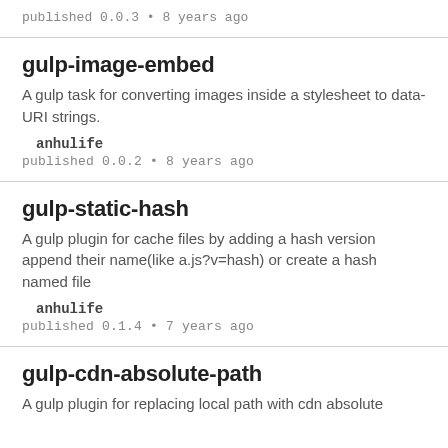published 0.0.3 • 8 years ago
gulp-image-embed
A gulp task for converting images inside a stylesheet to data-URI strings.
anhulife
published 0.0.2 • 8 years ago
gulp-static-hash
A gulp plugin for cache files by adding a hash version append their name(like a.js?v=hash) or create a hash named file
anhulife
published 0.1.4 • 7 years ago
gulp-cdn-absolute-path
A gulp plugin for replacing local path with cdn absolute